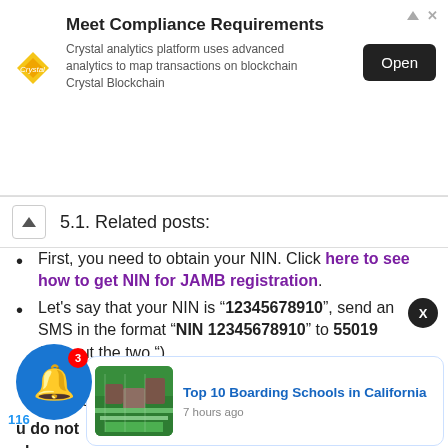[Figure (other): Advertisement banner for Crystal analytics platform. Title: Meet Compliance Requirements. Description: Crystal analytics platform uses advanced analytics to map transactions on blockchain Crystal Blockchain. Open button shown.]
5.1. Related posts:
First, you need to obtain your NIN. Click here to see how to get NIN for JAMB registration.
Let's say that your NIN is “12345678910”, send an SMS in the format “NIN 12345678910” to 55019 (without the two “).
You will receive a 10 digits profile code on the SIM card you sent it with.
u do not ch you need to get your NIN, after a few minutes, I have compiled a few tips that might
[Figure (photo): Popup card showing aerial photo of boarding school campus with green fields. Title: Top 10 Boarding Schools in California. Time: 7 hours ago.]